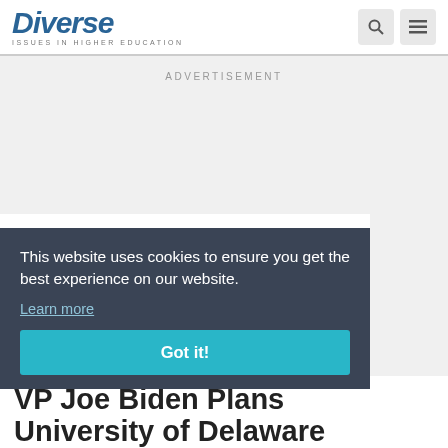Diverse ISSUES IN HIGHER EDUCATION
ADVERTISEMENT
This website uses cookies to ensure you get the best experience on our website.
Learn more
Got it!
VP Joe Biden Plans University of Delaware